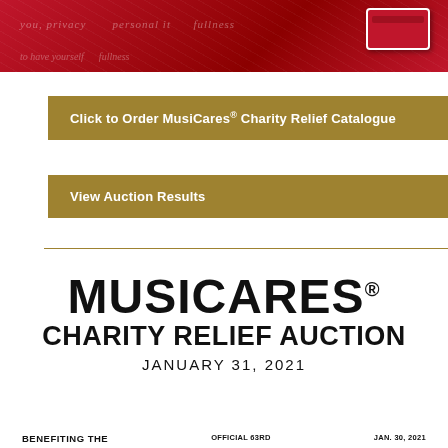[Figure (illustration): Red banner with script/cursive text watermark and a red card/box graphic on the right side]
Click to Order MusiCares® Charity Relief Catalogue
View Auction Results
MUSICARES® CHARITY RELIEF AUCTION JANUARY 31, 2021
BENEFITING THE
OFFICIAL 63RD
JAN. 30, 2021